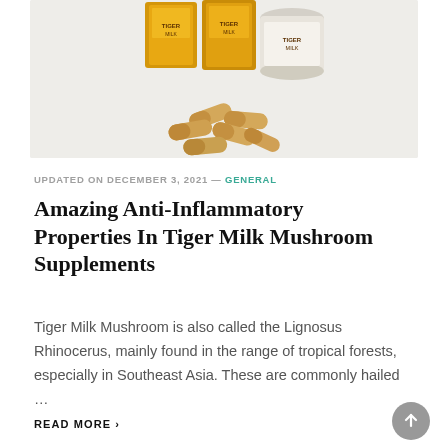[Figure (photo): Product photo showing supplement capsules and yellow/gold supplement boxes on a light grey background]
UPDATED ON DECEMBER 3, 2021 — GENERAL
Amazing Anti-Inflammatory Properties In Tiger Milk Mushroom Supplements
Tiger Milk Mushroom is also called the Lignosus Rhinocerus, mainly found in the range of tropical forests, especially in Southeast Asia. These are commonly hailed …
READ MORE ›